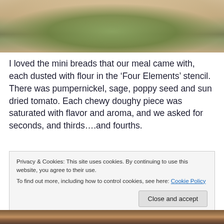[Figure (photo): Close-up photo of a plated dish with green vegetables and sauce on a white plate, restaurant food photography]
I loved the mini breads that our meal came with, each dusted with flour in the ‘Four Elements’ stencil.  There was pumpernickel, sage, poppy seed and sun dried tomato.  Each chewy doughy piece was saturated with flavor and aroma, and we asked for seconds, and thirds….and fourths.
Privacy & Cookies: This site uses cookies. By continuing to use this website, you agree to their use.
To find out more, including how to control cookies, see here: Cookie Policy
[Figure (photo): Partial view of another plated dish at the bottom of the page]